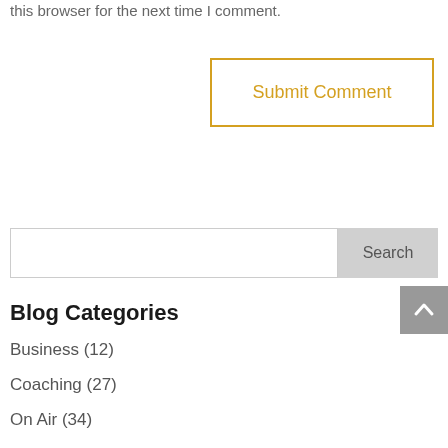this browser for the next time I comment.
Submit Comment
Search
Blog Categories
Business (12)
Coaching (27)
On Air (34)
On Screen (28)